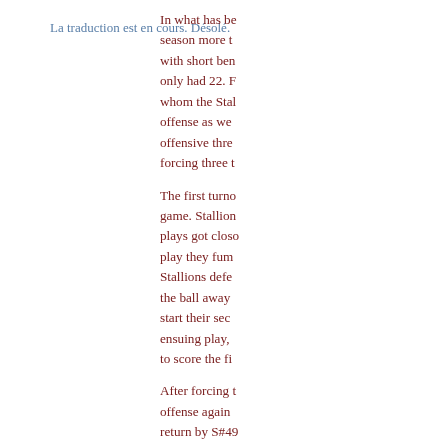La traduction est en cours. Désolé.
In what has be season more t with short ben only had 22. F whom the Stal offense as wel offensive thre forcing three t
The first turno game. Stallion plays got closo play they fum Stallions defe the ball away start their sec ensuing play, to score the fi
After forcing t offense again return by S#49 scored his sec Stallions lead
While the St-R first half, gaim also sputtered